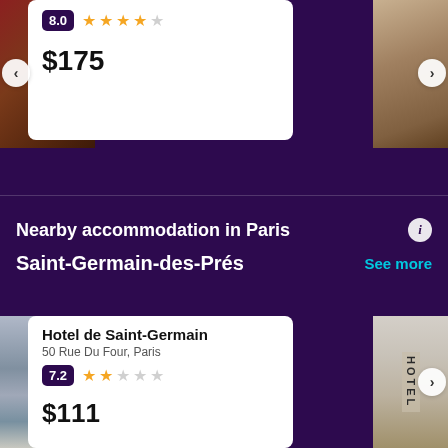[Figure (photo): Hotel room with red bed and dark interior, left photo]
8.0
[Figure (infographic): 4 yellow stars rating]
$175
[Figure (photo): Hotel room with curtains, right photo]
Nearby accommodation in Paris
Saint-Germain-des-Prés
See more
[Figure (photo): Paris rooftop skyline view, left photo]
Hotel de Saint-Germain
50 Rue Du Four, Paris
7.2
[Figure (infographic): 2 yellow stars rating]
$111
[Figure (photo): Hotel sign on building exterior, right photo]